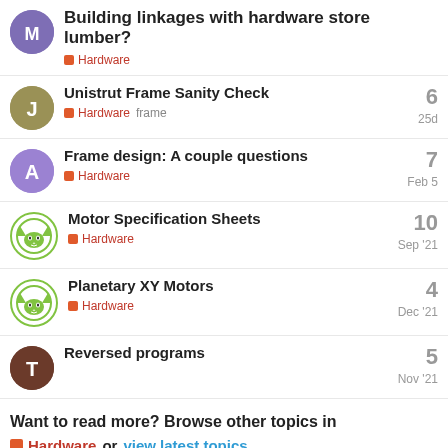Building linkages with hardware store lumber? — Hardware
Unistrut Frame Sanity Check — Hardware, frame — 6 replies — 25d
Frame design: A couple questions — Hardware — 7 replies — Feb 5
Motor Specification Sheets — Hardware — 10 replies — Sep '21
Planetary XY Motors — Hardware — 4 replies — Dec '21
Reversed programs — 5 replies — Nov '21
Want to read more? Browse other topics in Hardware or view latest topics.